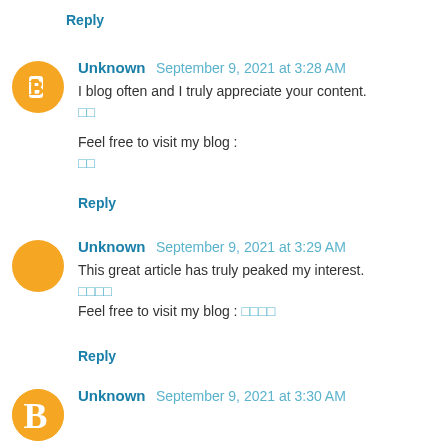Reply
Unknown  September 9, 2021 at 3:28 AM
I blog often and I truly appreciate your content.
Feel free to visit my blog :
Reply
Unknown  September 9, 2021 at 3:29 AM
This great article has truly peaked my interest.
Feel free to visit my blog :
Reply
Unknown  September 9, 2021 at 3:30 AM